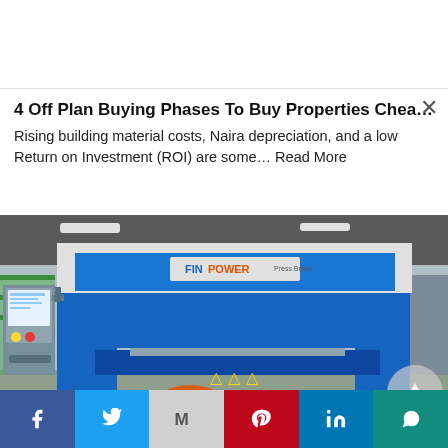4 Off Plan Buying Phases To Buy Properties Chea…
Rising building material costs, Naira depreciation, and a low Return on Investment (ROI) are some… Read More
[Figure (photo): Industrial blue press brake machine (Finpower brand) in a factory/warehouse setting, with a CNC control panel on the left side.]
Facebook  Twitter  Gmail  Pinterest  LinkedIn  WhatsApp